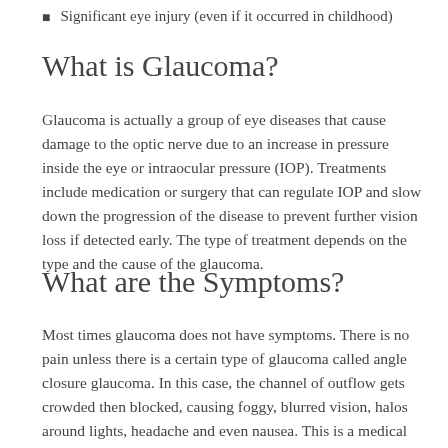Significant eye injury (even if it occurred in childhood)
What is Glaucoma?
Glaucoma is actually a group of eye diseases that cause damage to the optic nerve due to an increase in pressure inside the eye or intraocular pressure (IOP). Treatments include medication or surgery that can regulate IOP and slow down the progression of the disease to prevent further vision loss if detected early. The type of treatment depends on the type and the cause of the glaucoma.
What are the Symptoms?
Most times glaucoma does not have symptoms. There is no pain unless there is a certain type of glaucoma called angle closure glaucoma. In this case, the channel of outflow gets crowded then blocked, causing foggy, blurred vision, halos around lights, headache and even nausea. This is a medical emergency and should be assessed immediately as the intraocular pressure can become extremely high and cause